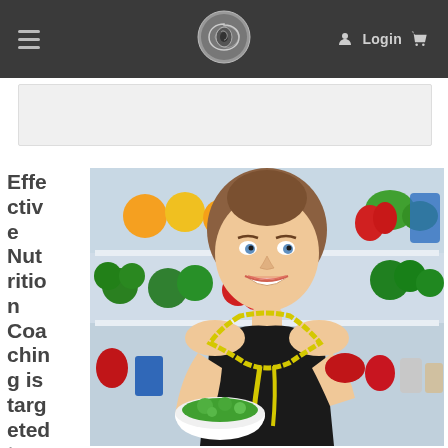Navigation bar with hamburger menu, logo, Login and cart icons
[Figure (screenshot): White banner/advertisement placeholder below navigation bar]
Effective Nutrition Coaching is targeted tow
[Figure (photo): Smiling woman in black tank top wearing yellow measuring tape, holding a white bowl of salad, standing in front of an open refrigerator filled with fruits and vegetables including oranges, lemons, tomatoes, peppers, broccoli, and other produce.]